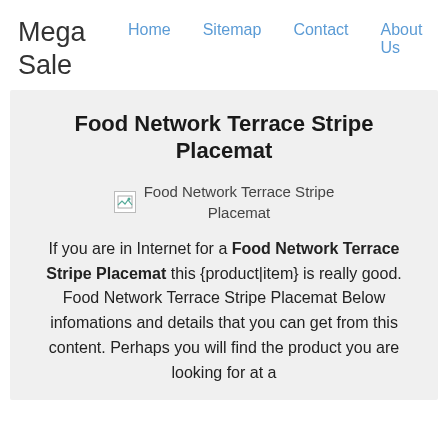Mega Sale
Home  Sitemap  Contact  About Us
Food Network Terrace Stripe Placemat
[Figure (photo): Broken image placeholder for Food Network Terrace Stripe Placemat]
Food Network Terrace Stripe Placemat
If you are in Internet for a Food Network Terrace Stripe Placemat this {product|item} is really good. Food Network Terrace Stripe Placemat Below infomations and details that you can get from this content. Perhaps you will find the product you are looking for at a